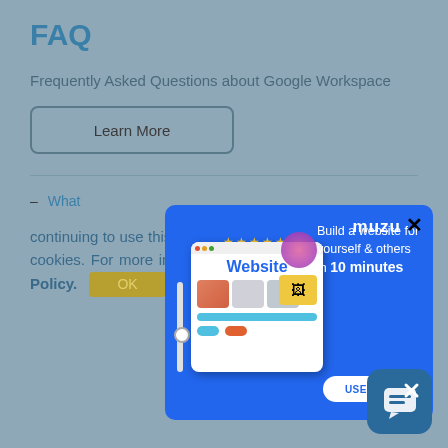FAQ
Frequently Asked Questions about Google Workspace
Learn More
– What
continuing to use this website you consent to our use of cookies. For more information, please see our Cookie Policy.
[Figure (screenshot): MUZU advertisement popup overlay on a blue background. Shows a website builder illustration with the text 'Website', five gold stars, MUZU logo, 'Build a website for yourself & others in 10 minutes', and a 'USE MUZU' button with a close X icon.]
[Figure (screenshot): Blue chat/support widget button in bottom-right corner with an X icon.]